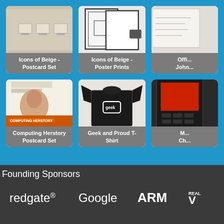[Figure (screenshot): Product grid on blue background showing: Icons of Beige - Postcard Set, Icons of Beige - Poster Prints, partially visible item (Offi... John...), Computing Herstory Postcard Set, Geek and Proud T-Shirt, partially visible item (M... Ch...)]
Icons of Beige - Postcard Set
Icons of Beige - Poster Prints
Computing Herstory Postcard Set
Geek and Proud T-Shirt
Founding Sponsors
[Figure (logo): redgate logo in white]
[Figure (logo): Google logo in white]
[Figure (logo): ARM logo in white]
[Figure (logo): REAL V (partially visible) logo in white]